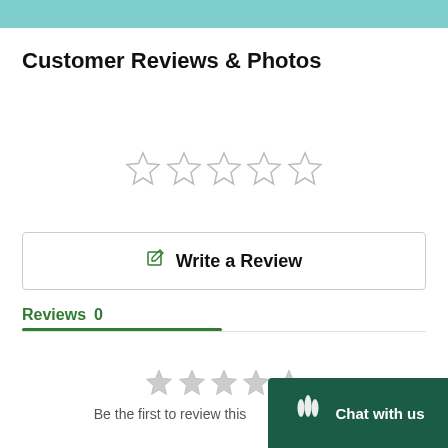[Figure (screenshot): Teal banner bar at top of page]
Customer Reviews & Photos
[Figure (other): Five empty star rating icons]
Write a Review
Reviews  0
[Figure (other): Five empty star rating icons (smaller, gray)]
Be the first to review this
[Figure (other): Chat with us widget in bottom right corner with tree icon]